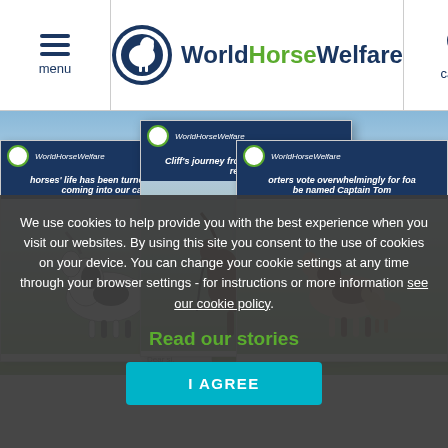menu | WorldHorseWelfare | call us
[Figure (screenshot): Three overlapping newsletter/email cards from World Horse Welfare showing horses. Left card: black and white pinto horse in paddock with text 'horses' life has been turned around coming into our care'. Center card: brown horse standing with text 'Cliff's journey from rescue to ready to rehome'. Right card: painted horse with foal with text 'orters vote overwhelmingly for foa be named Captain Tom'.]
We use cookies to help provide you with the best experience when you visit our websites. By using this site you consent to the use of cookies on your device. You can change your cookie settings at any time through your browser settings - for instructions or more information see our cookie policy.
Read our stories
I AGREE